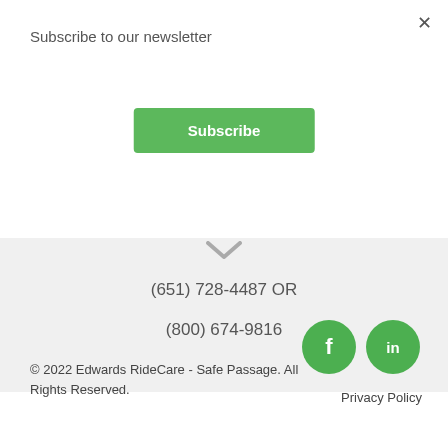Subscribe to our newsletter
Subscribe
(651) 728-4487 OR
(800) 674-9816
[Figure (illustration): Facebook and LinkedIn social media icons as green circles with white letters f and in]
© 2022 Edwards RideCare - Safe Passage. All Rights Reserved.
Privacy Policy